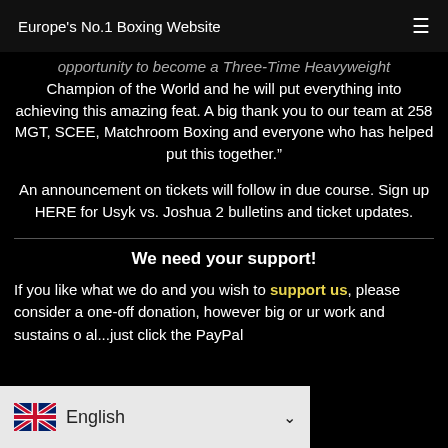Europe's No.1 Boxing Website
opportunity to become a Three-Time Heavyweight Champion of the World and he will put everything into achieving this amazing feat. A big thank you to our team at 258 MGT, SCEE, Matchroom Boxing and everyone who has helped put this together.”
An announcement on tickets will follow in due course. Sign up HERE for Usyk vs. Joshua 2 bulletins and ticket updates.
We need your support!
If you like what we do and you wish to support us, please consider a one-off donation, however big or our work and sustains o al...just click the PayPal